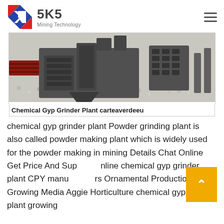SKS Mining Technology
[Figure (photo): Industrial grinding/crushing machine with grey metal body and housing, sitting on crushed stone/gravel surface. Red and grey machinery components visible.]
Chemical Gyp Grinder Plant carteaverdeeu
chemical gyp grinder plant Powder grinding plant is also called powder making plant which is widely used for the powder making in mining Details Chat Online Get Price And Supply Online chemical gyp grinder plant CPY manufacturers Ornamental Production Growing Media Aggie Horticulture chemical gyp grinder plant growing